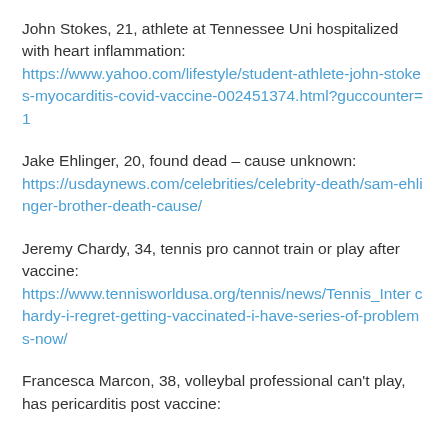John Stokes, 21, athlete at Tennessee Uni hospitalized with heart inflammation: https://www.yahoo.com/lifestyle/student-athlete-john-stokes-myocarditis-covid-vaccine-002451374.html?guccounter=1
Jake Ehlinger, 20, found dead – cause unknown: https://usdaynews.com/celebrities/celebrity-death/sam-ehlinger-brother-death-cause/
Jeremy Chardy, 34, tennis pro cannot train or play after vaccine: https://www.tennisworldusa.org/tennis/news/Tennis_Inter chardy-i-regret-getting-vaccinated-i-have-series-of-problems-now/
Francesca Marcon, 38, volleybal professional can't play, has pericarditis post vaccine: